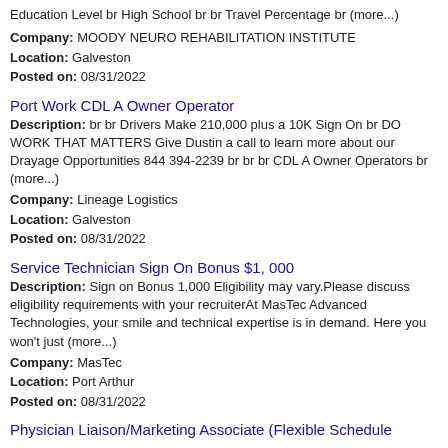Education Level br High School br br Travel Percentage br (more...)
Company: MOODY NEURO REHABILITATION INSTITUTE
Location: Galveston
Posted on: 08/31/2022
Port Work CDL A Owner Operator
Description: br br Drivers Make 210,000 plus a 10K Sign On br DO WORK THAT MATTERS Give Dustin a call to learn more about our Drayage Opportunities 844 394-2239 br br br CDL A Owner Operators br (more...)
Company: Lineage Logistics
Location: Galveston
Posted on: 08/31/2022
Service Technician Sign On Bonus $1, 000
Description: Sign on Bonus 1,000 Eligibility may vary.Please discuss eligibility requirements with your recruiterAt MasTec Advanced Technologies, your smile and technical expertise is in demand. Here you won't just (more...)
Company: MasTec
Location: Port Arthur
Posted on: 08/31/2022
Physician Liaison/Marketing Associate (Flexible Schedule